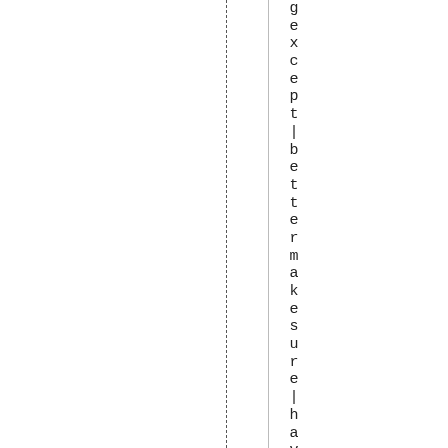gexcept | better make sure | have de